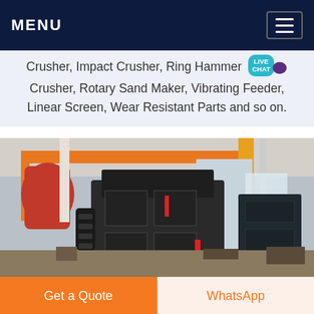MENU
Crusher, Impact Crusher, Ring Hammer Crusher, Rotary Sand Maker, Vibrating Feeder, Linear Screen, Wear Resistant Parts and so on.
[Figure (photo): Industrial factory floor showing large heavy black mining/crushing machinery (impact crusher or similar) with orange crane structures and industrial equipment in the background]
Get a Quote
WhatsApp